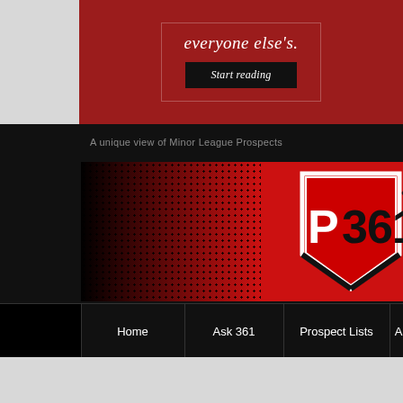everyone else's.
Start reading
A unique view of Minor League Prospects
[Figure (logo): P361 degrees logo on a red and black halftone background banner]
Home
Ask 361
Prospect Lists
A